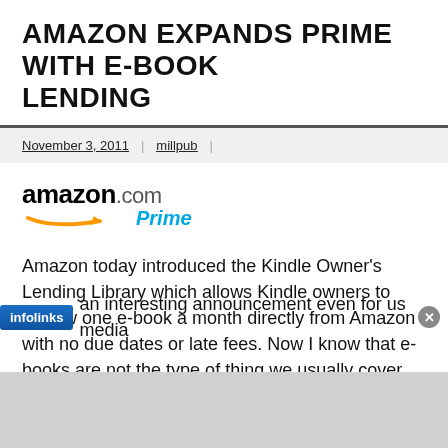AMAZON EXPANDS PRIME WITH E-BOOK LENDING
November 3, 2011 | millpub |
[Figure (logo): Amazon.com Prime logo with orange arrow and blue Prime text]
Amazon today introduced the Kindle Owner's Lending Library which allows Kindle owners to borrow one e-book a month directly from Amazon with no due dates or late fees. Now I know that e-books are not the type of thing we usually cover here at Missing Remote, but this an interesting announcement even for us media